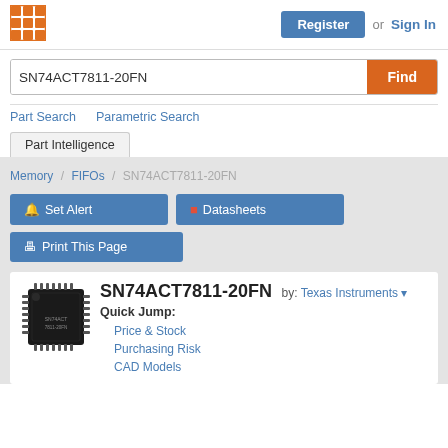[Figure (logo): Orange grid/matrix logo icon]
Register or Sign In
SN74ACT7811-20FN  Find
Part Search   Parametric Search
Part Intelligence
Memory / FIFOs / SN74ACT7811-20FN
Set Alert
Datasheets
Print This Page
[Figure (photo): Photo of SN74ACT7811-20FN integrated circuit chip]
SN74ACT7811-20FN
by: Texas Instruments
Quick Jump:
Price & Stock
Purchasing Risk
CAD Models